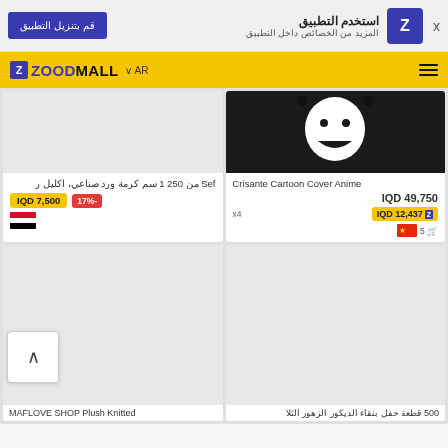استخدم التطبيق - المزيد من الخصائص داخل التطبيق - قم بتنزيل التطبيق
ZOODMALL - AR
[Figure (screenshot): Product card: Sef artificial roses 250 pieces with Egyptian flag, price IQD 7,500 with 17% discount]
[Figure (screenshot): Product card: Crisante Cartoon Cover Anime, price IQD 49,750, installment IQD 12,437 x4, China flag]
[Figure (screenshot): Product card bottom row left: MAFLOVE SHOP Plush Knitted]
[Figure (screenshot): Product card bottom row right: 500 قطعة حفل بنقاء الديكور الزهور الثلاثي]